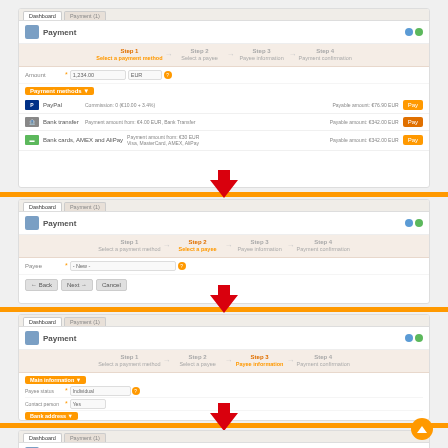[Figure (screenshot): Multi-step UI walkthrough showing a payment portal with 4 steps: (1) Select payment method showing PayPal, Bank transfer, Bank card options with Pay buttons; (2) Select a payee step with dropdown and Back/Next/Cancel buttons; (3) Payee information step with form fields for payee name, contact, country, ZIP, city, address; (4) Payment confirmation step showing Step 4 active. Three red downward arrows connect the steps, separated by orange horizontal bars. An orange scroll-to-top button appears at bottom right.]